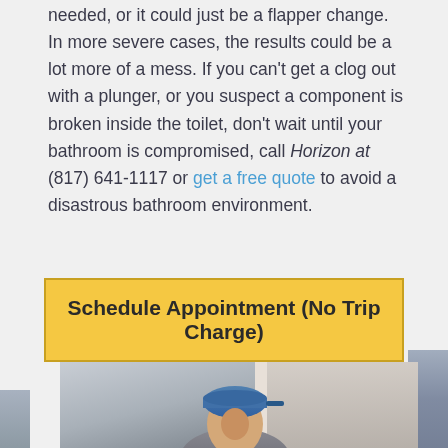needed, or it could just be a flapper change. In more severe cases, the results could be a lot more of a mess. If you can't get a clog out with a plunger, or you suspect a component is broken inside the toilet, don't wait until your bathroom is compromised, call Horizon at (817) 641-1117 or get a free quote to avoid a disastrous bathroom environment.
Schedule Appointment (No Trip Charge)
[Figure (photo): Photo of a person wearing a blue baseball cap, partially visible, appearing to be a service technician]